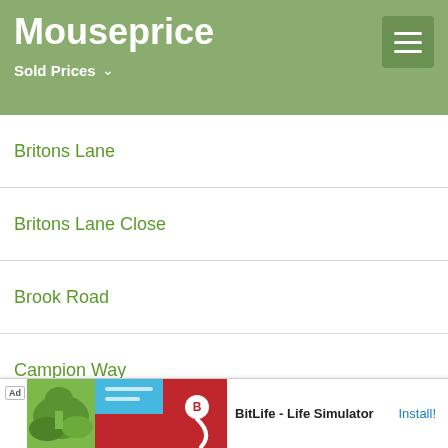Mouseprice
Sold Prices
Britons Lane
Britons Lane Close
Brook Road
Campion Way
Caxton Close
Caxton Park
Cedar Grove
Celandine Lane
Chapman...
Charloc...
[Figure (screenshot): Advertisement banner for BitLife - Life Simulator app with Install button]